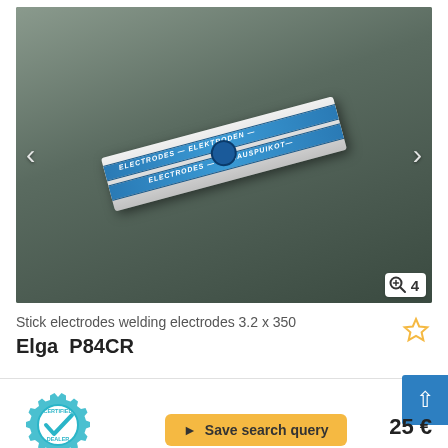[Figure (photo): Photo of a box of Elga P84CR stick welding electrodes 3.2 x 350mm, shown diagonally on a dark surface with blue and white packaging.]
Stick electrodes welding electrodes 3.2 x 350
Elga  P84CR
[Figure (logo): Certified Dealer badge — teal gear-shaped badge with a checkmark and text CERTIFIED DEALER]
Save search query
25 €